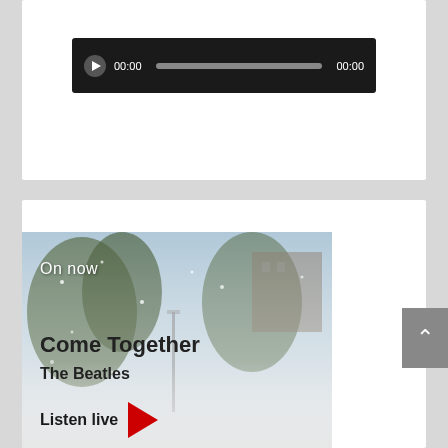[Figure (screenshot): Audio player bar with dark background showing play button, timestamp 00:00, grey progress bar, and end timestamp 00:00]
[Figure (screenshot): Radio now-playing card showing a snowy/misty outdoor scene with trees and buildings. Text overlay reads 'On now', 'Come Together', 'The Beatles', and a 'Listen live' button with red play triangle.]